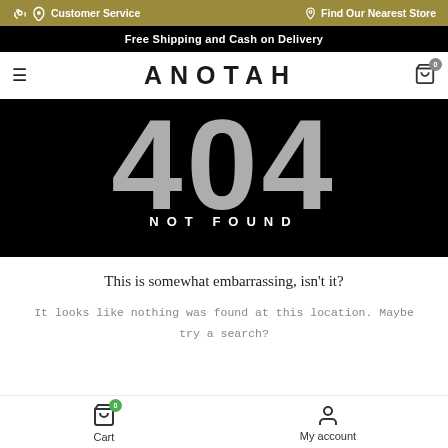Customer Service | Find Our Nearest Store
Free Shipping and Cash on Delivery
ANOTAH
[Figure (screenshot): 404 NOT FOUND error page graphic with large grey 404 numerals over a black background and 'NOT FOUND' text overlay]
This is somewhat embarrassing, isn't it?
It looks like nothing was found at this location. Maybe try a search?
Cart | My account